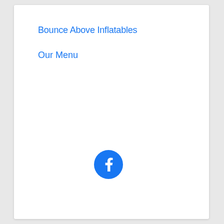Bounce Above Inflatables
Our Menu
[Figure (logo): Facebook logo icon — blue circle with white 'f' letter]